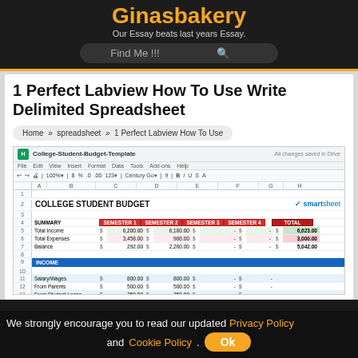Ginasbakery
Our Essay beats last years Essay.
1 Perfect Labview How To Use Write Delimited Spreadsheet
Home » spreadsheet » 1 Perfect Labview How To Use
[Figure (screenshot): Screenshot of a Google Sheets spreadsheet showing a College Student Budget Template with semester columns (SEMESTER 1-4) and a TOTAL column, with rows for Summary (Total Income, Total Expenses, Balance) and Income section (Salary/Wages, From Parents, From Student Loans, From Scholarships)]
We strongly encourage you to read our updated Privacy Policy and Cookie Policy.